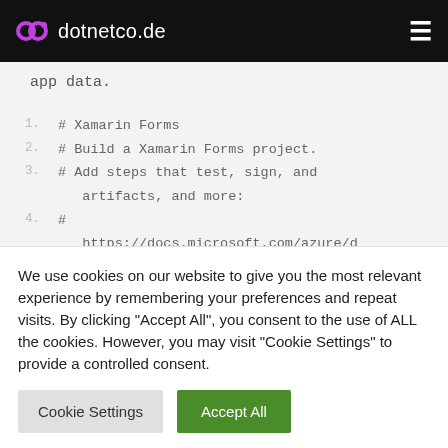dotnetco.de
app data.
1. # Xamarin Forms
2. # Build a Xamarin Forms project.
3. # Add steps that test, sign, and
   artifacts, and more:
4. # https://docs.microsoft.com/azure/d
5.
6. trigger:
7. - master
We use cookies on our website to give you the most relevant experience by remembering your preferences and repeat visits. By clicking "Accept All", you consent to the use of ALL the cookies. However, you may visit "Cookie Settings" to provide a controlled consent.